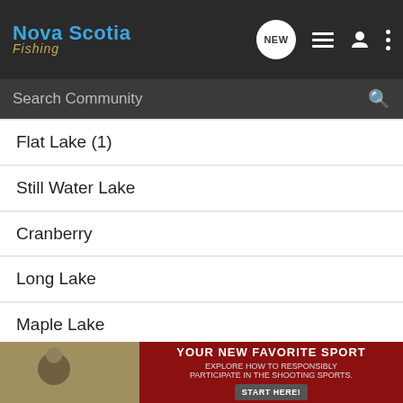Nova Scotia Fishing
Search Community
Flat Lake (1)
Still Water Lake
Cranberry
Long Lake
Maple Lake
Nine Mile River
Thompson Pond
Perry Pond
Bartlett
[Figure (infographic): Advertisement banner: YOUR NEW FAVORITE SPORT - EXPLORE HOW TO RESPONSIBLY PARTICIPATE IN THE SHOOTING SPORTS. START HERE!]